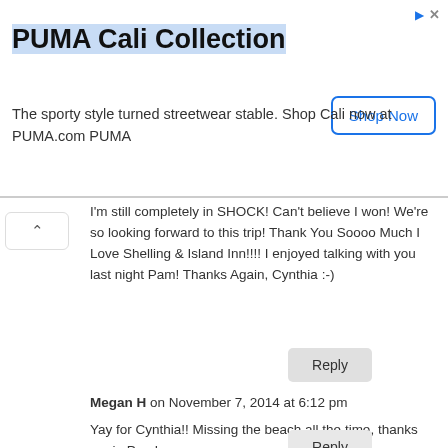[Figure (other): PUMA Cali Collection advertisement banner with title, body text, and Shop Now button]
I'm still completely in SHOCK! Can't believe I won! We're so looking forward to this trip! Thank You Soooo Much I Love Shelling & Island Inn!!!! I enjoyed talking with you last night Pam! Thanks Again, Cynthia :-)
Reply
Megan H on November 7, 2014 at 6:12 pm
Yay for Cynthia!! Missing the beach all the time, thanks again Pam!
Reply